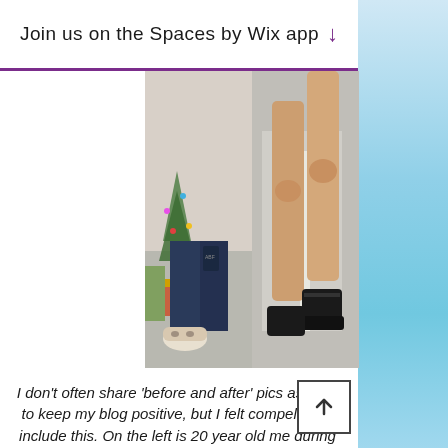Join us on the Spaces by Wix app ↓
[Figure (photo): Two side-by-side photos: left photo shows a person's lower body/legs wearing jeans and patterned slipper boots near a Christmas tree with gifts; right photo shows a person's bare legs and lower body walking on a road/path wearing black shoes.]
I don't often share 'before and after' pics as I like to keep my blog positive, but I felt compelled to include this. On the left is 20 year old me during my first year with anorexia. You can tell by my pale, drawn face that I was really struggling to understand what was happening to me. This was one of my lowest points in terms of dropping weight. The photo on the right is me in August 2021... feeling healthy and strong...